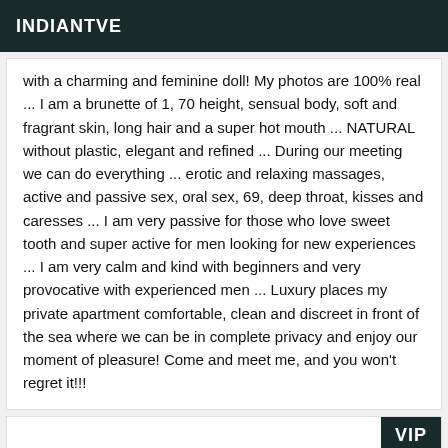INDIANTVE
with a charming and feminine doll! My photos are 100% real ... I am a brunette of 1, 70 height, sensual body, soft and fragrant skin, long hair and a super hot mouth ... NATURAL without plastic, elegant and refined ... During our meeting we can do everything ... erotic and relaxing massages, active and passive sex, oral sex, 69, deep throat, kisses and caresses ... I am very passive for those who love sweet tooth and super active for men looking for new experiences ... I am very calm and kind with beginners and very provocative with experienced men ... Luxury places my private apartment comfortable, clean and discreet in front of the sea where we can be in complete privacy and enjoy our moment of pleasure! Come and meet me, and you won't regret it!!!
[Figure (other): VIP badge card section at the bottom]